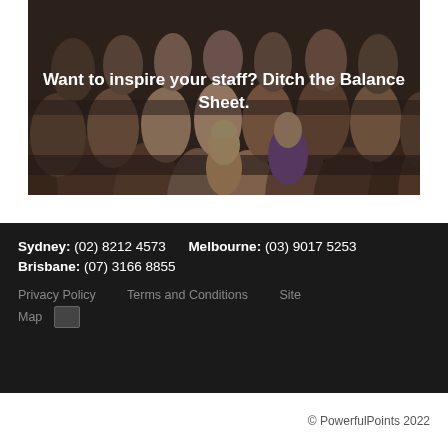[Figure (photo): A crowd of people seated in rows at a conference or presentation event, viewed from behind, with blurred/dark tone. White overlay text reads: Want to inspire your staff? Ditch the Balance Sheet.]
Sydney: (02) 8212 4573   Melbourne: (03) 9017 5253   Brisbane: (07) 3166 8855
Privacy Policy   Terms and Conditions   Site Map
© PowerfulPoints 2022